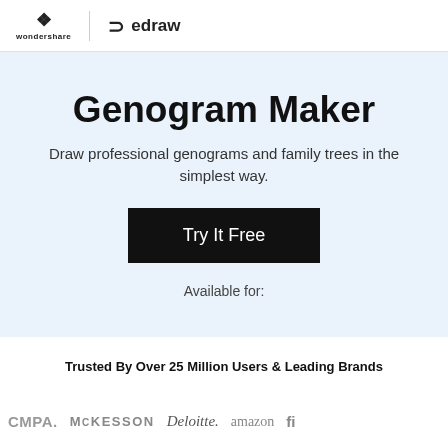wondershare | edraw
Genogram Maker
Draw professional genograms and family trees in the simplest way.
Try It Free
Available for:
Trusted By Over 25 Million Users & Leading Brands
[Figure (logo): Company logos: CMPA, McKesson, Deloitte, amazon, and partial fi logo]